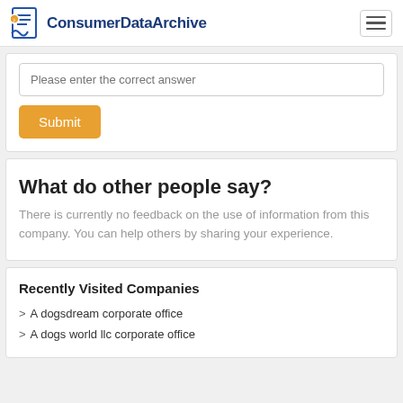ConsumerDataArchive
Please enter the correct answer
Submit
What do other people say?
There is currently no feedback on the use of information from this company. You can help others by sharing your experience.
Recently Visited Companies
A dogsdream corporate office
A dogs world llc corporate office